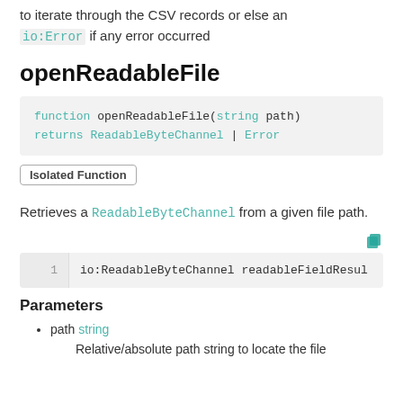to iterate through the CSV records or else an io:Error if any error occurred
openReadableFile
Isolated Function
Retrieves a ReadableByteChannel from a given file path.
Parameters
path string
Relative/absolute path string to locate the file